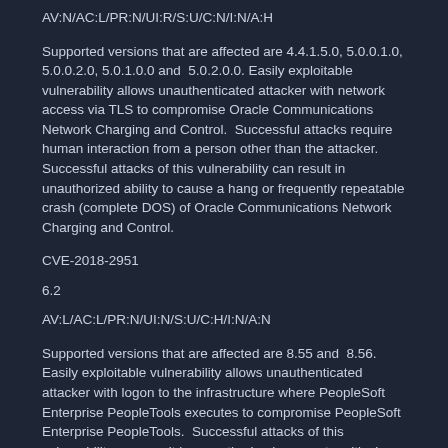AV:N/AC:L/PR:N/UI:R/S:U/C:N/I:N/A:H
Supported versions that are affected are 4.4.1.5.0, 5.0.0.1.0, 5.0.0.2.0, 5.0.1.0.0 and  5.0.2.0.0. Easily exploitable vulnerability allows unauthenticated attacker with network access via TLS to compromise Oracle Communications Network Charging and Control.  Successful attacks require human interaction from a person other than the attacker. Successful attacks of this vulnerability can result in unauthorized ability to cause a hang or frequently repeatable crash (complete DOS) of Oracle Communications Network Charging and Control.
CVE-2018-2951
6.2
AV:L/AC:L/PR:N/UI:N/S:U/C:H/I:N/A:N
Supported versions that are affected are 8.55 and  8.56. Easily exploitable vulnerability allows unauthenticated attacker with logon to the infrastructure where PeopleSoft Enterprise PeopleTools executes to compromise PeopleSoft Enterprise PeopleTools.  Successful attacks of this vulnerability can result in  unauthorized access to critical data or complete access to all PeopleSoft Enterprise PeopleTools accessible data.
CVE-2018-3068
6.1